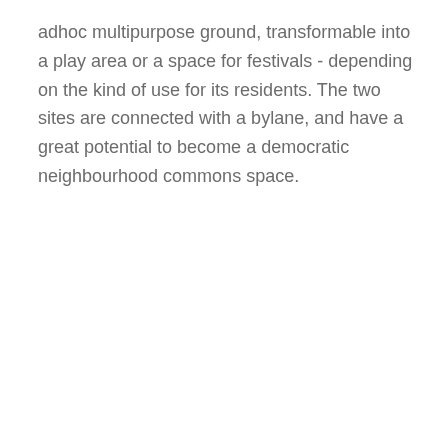adhoc multipurpose ground, transformable into a play area or a space for festivals - depending on the kind of use for its residents. The two sites are connected with a bylane, and have a great potential to become a democratic neighbourhood commons space.